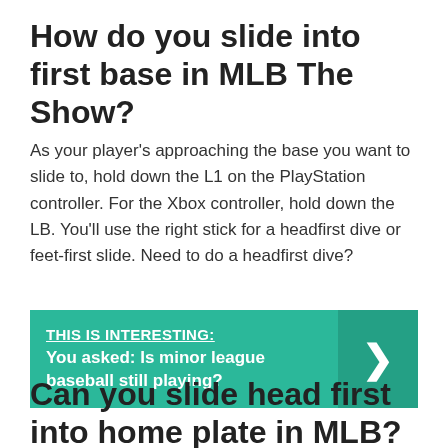How do you slide into first base in MLB The Show?
As your player’s approaching the base you want to slide to, hold down the L1 on the PlayStation controller. For the Xbox controller, hold down the LB. You’ll use the right stick for a headfirst dive or feet-first slide. Need to do a headfirst dive?
[Figure (infographic): Teal banner with label THIS IS INTERESTING: and question text 'You asked: Is minor league baseball still playing?' with a right-arrow chevron on the right side]
Can you slide head first into home plate in MLB?